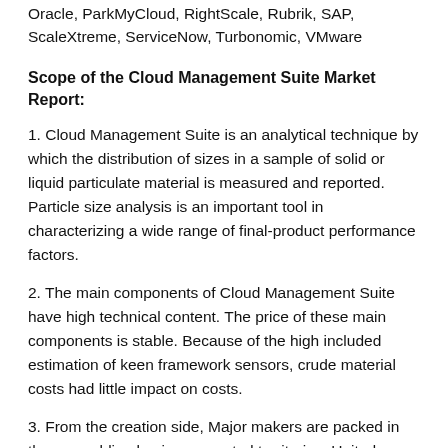Oracle, ParkMyCloud, RightScale, Rubrik, SAP, ScaleXtreme, ServiceNow, Turbonomic, VMware
Scope of the Cloud Management Suite Market Report:
1. Cloud Management Suite is an analytical technique by which the distribution of sizes in a sample of solid or liquid particulate material is measured and reported. Particle size analysis is an important tool in characterizing a wide range of final-product performance factors.
2. The main components of Cloud Management Suite have high technical content. The price of these main components is stable. Because of the high included estimation of keen framework sensors, crude material costs had little impact on costs.
3. From the creation side, Major makers are packed in the assembling business created territories. United States brings together contemporary manufacturing of Cloud Management Suite